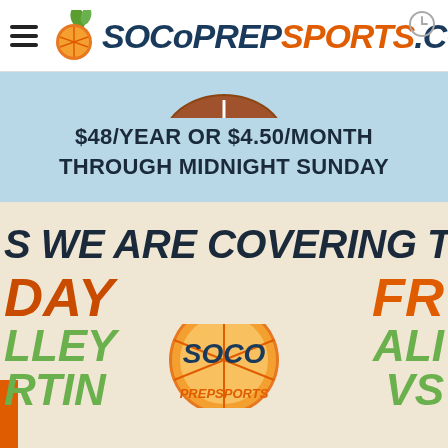SOCoPREPSPORTS.COM
$48/YEAR OR $4.50/MONTH through midnight Sunday
[Figure (screenshot): SOCo Prep Sports website screenshot showing promotional pricing banner and 'WE ARE COVERING THIS' coverage section with SOCO PREP SPORTS logo, DAY and FRI labels, VALLEY, MARTIN, ALI, VS text in orange and green italic bold fonts on a cream background]
WE ARE COVERING THIS
DAY
FRI
VALLEY
MARTIN
ALI
VS